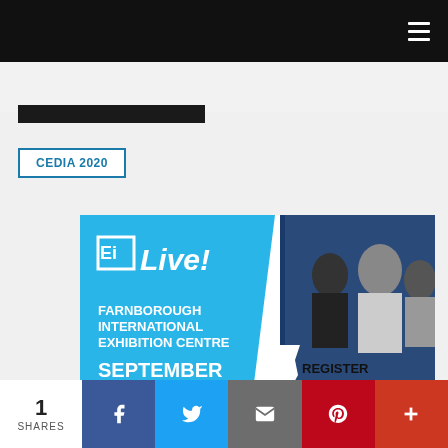Navigation bar with hamburger menu
CEDIA 2020
[Figure (photo): Ei Live! advertisement banner showing Farnborough International Exhibition Centre, September 14-15 2022, with Register Free call to action and people networking in background]
1 SHARES
Social share buttons: Facebook, Twitter, Email, Pinterest, Plus